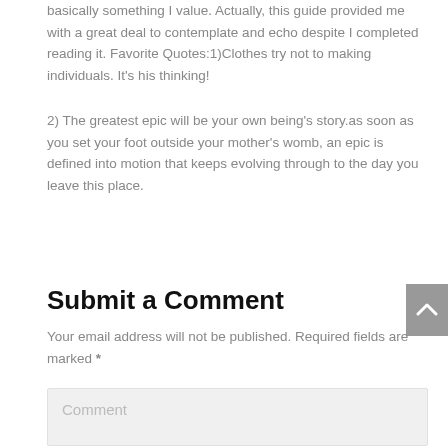basically something I value. Actually, this guide provided me with a great deal to contemplate and echo despite I completed reading it. Favorite Quotes:1)Clothes try not to making individuals. It's his thinking!
2) The greatest epic will be your own being's story.as soon as you set your foot outside your mother's womb, an epic is defined into motion that keeps evolving through to the day you leave this place.
Submit a Comment
Your email address will not be published. Required fields are marked *